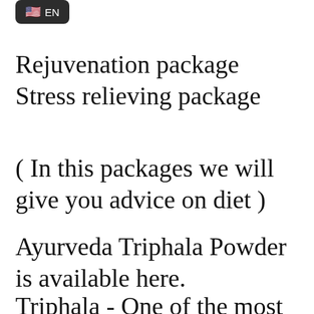[Figure (screenshot): A dark rounded UI badge showing a US flag emoji followed by the text 'EN']
Rejuvenation package
Stress relieving package
( In this packages we will give you advice on diet )
Ayurveda Triphala Powder is available here.
Triphala - One of the most famous